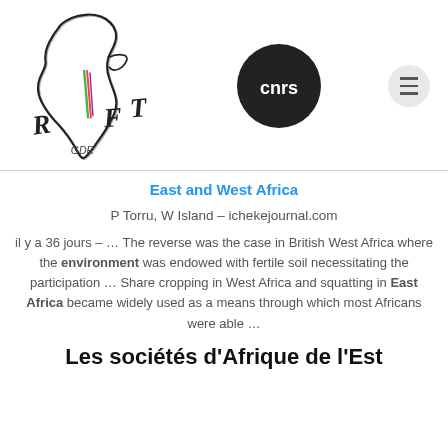[Figure (logo): RIFT GDR logo — hand-drawn Africa continent outline with stylized letters R, I, F, T and GDR text]
[Figure (logo): CNRS logo — black circle with white lowercase 'cnrs' text]
[Figure (other): Hamburger/menu button — grey circle with three horizontal lines]
East and West Africa
P Torru, W Island – ichekejournal.com
il y a 36 jours – … The reverse was the case in British West Africa where the environment was endowed with fertile soil necessitating the participation … Share cropping in West Africa and squatting in East Africa became widely used as a means through which most Africans were able …
Les sociétés d'Afrique de l'Est